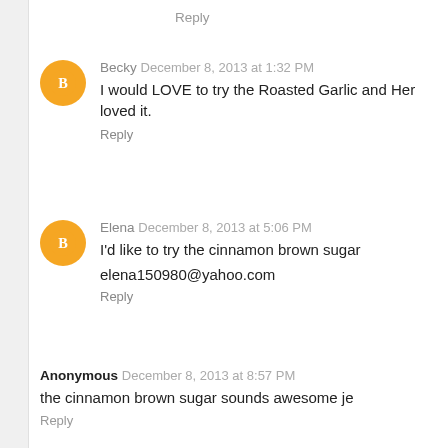Reply
Becky December 8, 2013 at 1:32 PM
I would LOVE to try the Roasted Garlic and Her loved it.
Reply
Elena December 8, 2013 at 5:06 PM
I'd like to try the cinnamon brown sugar
elena150980@yahoo.com
Reply
Anonymous December 8, 2013 at 8:57 PM
the cinnamon brown sugar sounds awesome je
Reply